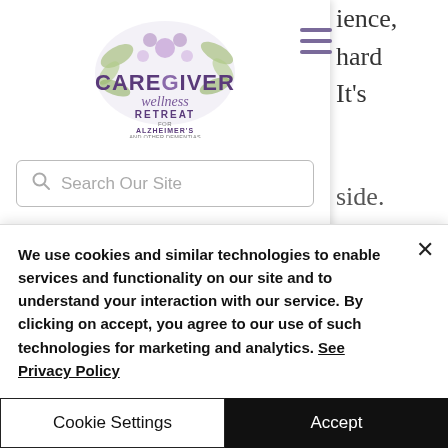[Figure (logo): Caregiver Wellness Retreat for Alzheimer's and Other Dementias logo with floral watercolor design]
Search Our Site
ience, hard It's side. to e you really d I s I want to ask you. So I'm really excited. We're going to continue a conversation over in a different group
We use cookies and similar technologies to enable services and functionality on our site and to understand your interaction with our service. By clicking on accept, you agree to our use of such technologies for marketing and analytics. See Privacy Policy
Cookie Settings
Accept